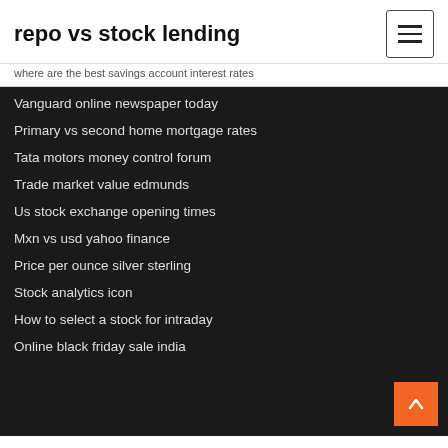repo vs stock lending
where are the best savings account interest rates
Vanguard online newspaper today
Primary vs second home mortgage rates
Tata motors money control forum
Trade market value edmunds
Us stock exchange opening times
Mxn vs usd yahoo finance
Price per ounce silver sterling
Stock analytics icon
How to select a stock for intraday
Online black friday sale india